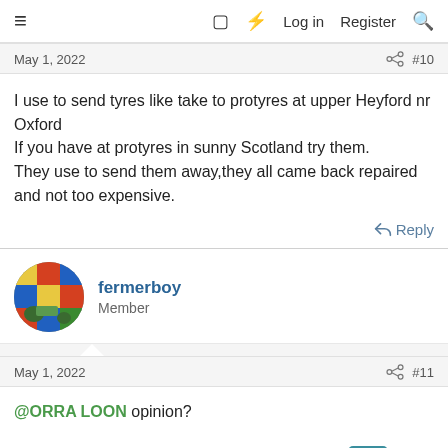≡  □  ⚡  Log in  Register  🔍
May 1, 2022   #10
I use to send tyres like take to protyres at upper Heyford nr Oxford
If you have at protyres in sunny Scotland try them.
They use to send them away,they all came back repaired and not too expensive.
↩ Reply
fermerboy
Member
May 1, 2022   #11
@ORRA LOON opinion?
↩ Reply